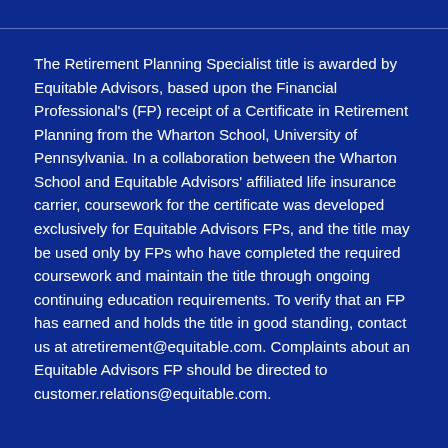The Retirement Planning Specialist title is awarded by Equitable Advisors, based upon the Financial Professional's (FP) receipt of a Certificate in Retirement Planning from the Wharton School, University of Pennsylvania. In a collaboration between the Wharton School and Equitable Advisors' affiliated life insurance carrier, coursework for the certificate was developed exclusively for Equitable Advisors FPs, and the title may be used only by FPs who have completed the required coursework and maintain the title through ongoing continuing education requirements. To verify that an FP has earned and holds the title in good standing, contact us at atretirement@equitable.com. Complaints about an Equitable Advisors FP should be directed to customer.relations@equitable.com.